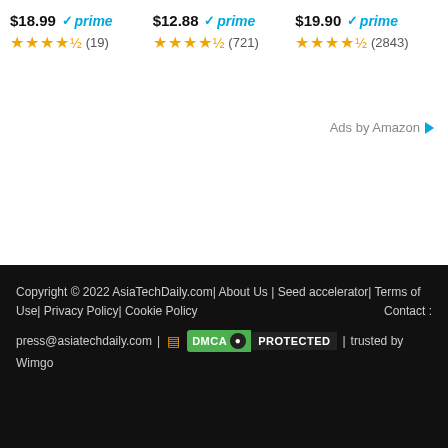$18.99 ✓prime ★★★★½ (19)
$12.88 ✓prime ★★★★½ (721)
$19.90 ✓prime ★★★★½ (2843)
Ads by Amazon ▷
Copyright © 2022 AsiaTechDaily.com| About Us | Seed accelerator| Terms of Use| Privacy Policy| Cookie Policy   Contact : press@asiatechdaily.com | [RSS] DMCA PROTECTED | trusted by Wimgo